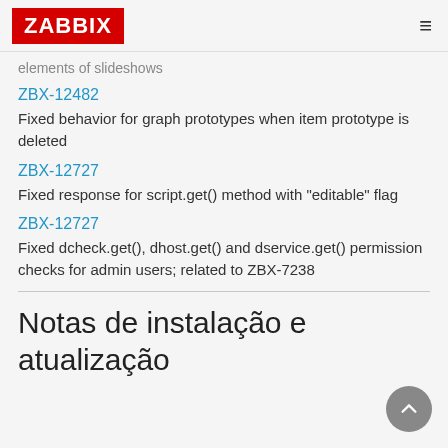ZABBIX
elements of slideshows
ZBX-12482
Fixed behavior for graph prototypes when item prototype is deleted
ZBX-12727
Fixed response for script.get() method with "editable" flag
ZBX-12727
Fixed dcheck.get(), dhost.get() and dservice.get() permission checks for admin users; related to ZBX-7238
Notas de instalação e atualização